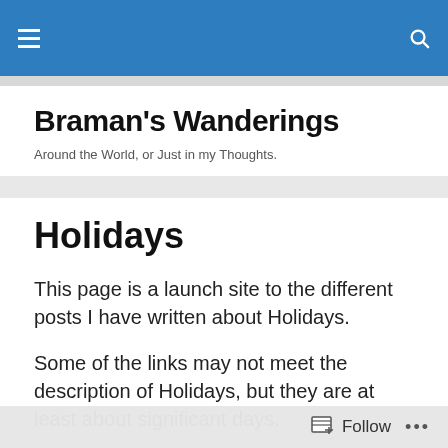Braman's Wanderings — navigation bar with hamburger menu and search icon
Braman's Wanderings
Around the World, or Just in my Thoughts.
Holidays
This page is a launch site to the different posts I have written about Holidays.
Some of the links may not meet the description of Holidays, but they are at least about significant days.
I may have missed some of my posts, but this will always
Follow  •••